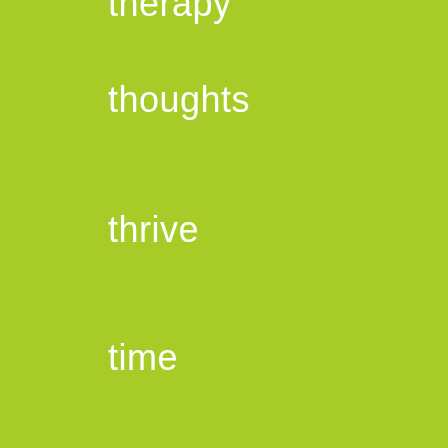therapy
thoughts
thrive
time
tips
tools
tracing
tracking
traditions